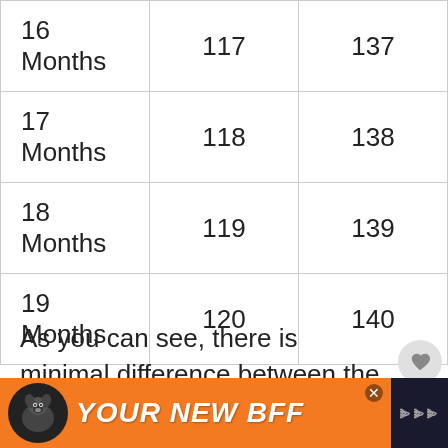| 16 Months | 117 | 137 |
| 17 Months | 118 | 138 |
| 18 Months | 119 | 139 |
| 19 Months | 120 | 140 |
As you can see, there is minimal difference between the males and females of this breed.
[Figure (other): Advertisement banner: orange background with dog image and text 'YOUR NEW BFF']